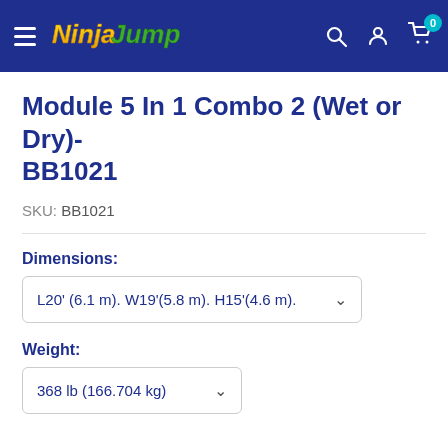NinjaJump — navigation bar with logo, search, account, and cart icons
Module 5 In 1 Combo 2 (Wet or Dry)-BB1021
SKU: BB1021
Dimensions:
L20' (6.1 m). W19'(5.8 m). H15'(4.6 m).
Weight:
368 lb (166.704 kg)